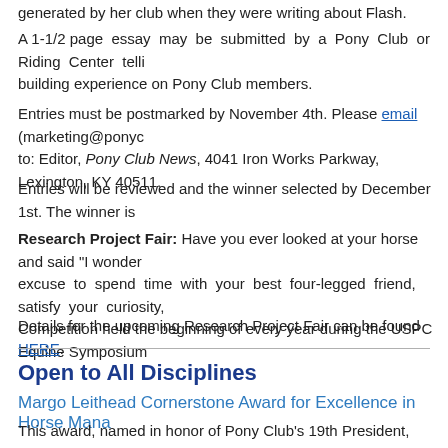generated by her club when they were writing about Flash.
A 1-1/2 page essay may be submitted by a Pony Club or Riding Center telling building experience on Pony Club members.
Entries must be postmarked by November 4th. Please email (marketing@ponyc to: Editor, Pony Club News, 4041 Iron Works Parkway, Lexington, KY 40511.
Entries will be reviewed and the winner selected by December 1st. The winner is
Research Project Fair: Have you ever looked at your horse and said "I wonder excuse to spend time with your best four-legged friend, satisfy your curiosity, Competition held the beginning of every year during the USPC Equine Symposium
Details for the upcoming Research Project Fair can be found HERE.
Open to All Disciplines
Margo Leithead Cornerstone Award for Excellence in Horse Mana
This award, named in honor of Pony Club's 19th President, Margo Leithead, recog disciplines during USPC Championships event(s). This award was first presented in